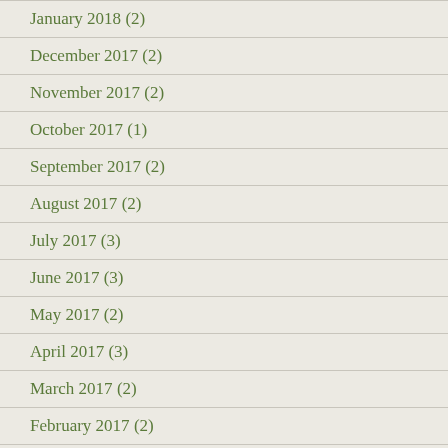January 2018 (2)
December 2017 (2)
November 2017 (2)
October 2017 (1)
September 2017 (2)
August 2017 (2)
July 2017 (3)
June 2017 (3)
May 2017 (2)
April 2017 (3)
March 2017 (2)
February 2017 (2)
January 2017 (2)
December 2016 (3)
November 2016 (1)